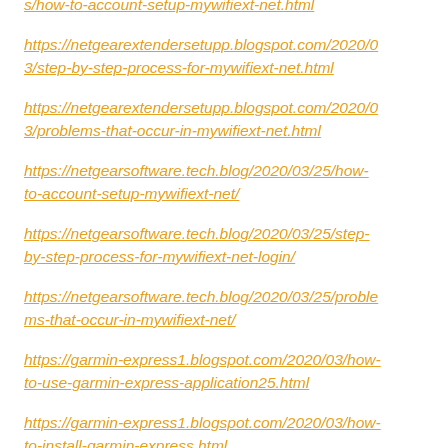s/how-to-account-setup-mywifiext-net.html
https://netgearextendersetupp.blogspot.com/2020/03/step-by-step-process-for-mywifiext-net.html
https://netgearextendersetupp.blogspot.com/2020/03/problems-that-occur-in-mywifiext-net.html
https://netgearsoftware.tech.blog/2020/03/25/how-to-account-setup-mywifiext-net/
https://netgearsoftware.tech.blog/2020/03/25/step-by-step-process-for-mywifiext-net-login/
https://netgearsoftware.tech.blog/2020/03/25/problems-that-occur-in-mywifiext-net/
https://garmin-express1.blogspot.com/2020/03/how-to-use-garmin-express-application25.html
https://garmin-express1.blogspot.com/2020/03/how-to-install-garmin-express.html